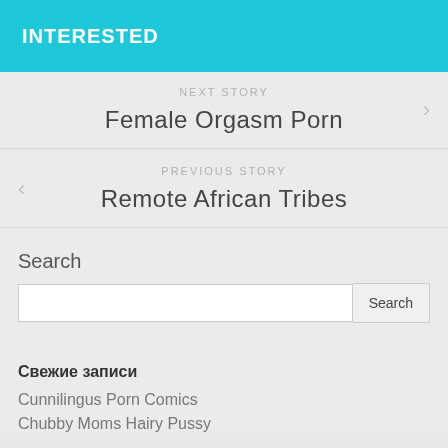INTERESTED
NEXT STORY
Female Orgasm Porn
PREVIOUS STORY
Remote African Tribes
Search
Свежие записи
Cunnilingus Porn Comics
Chubby Moms Hairy Pussy